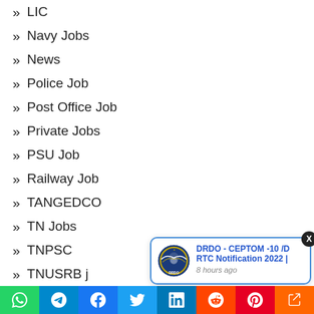LIC
Navy Jobs
News
Police Job
Post Office Job
Private Jobs
PSU Job
Railway Job
TANGEDCO
TN Jobs
TNPSC
TNUSRB j...
[Figure (infographic): DRDO notification popup with logo, title 'DRDO - CEPTOM -10 /D RTC Notification 2022 |', timestamp '8 hours ago', and close button X]
WhatsApp | Telegram | Facebook | Twitter | LinkedIn | Reddit | Pinterest | Share